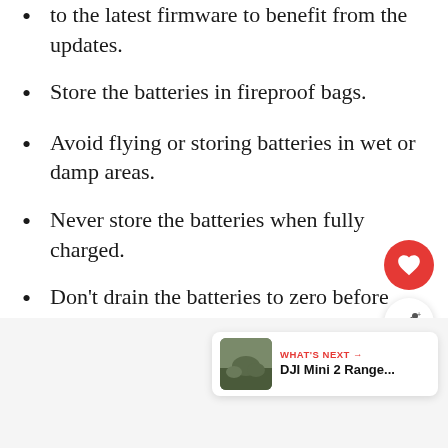to the latest firmware to benefit from the updates.
Store the batteries in fireproof bags.
Avoid flying or storing batteries in wet or damp areas.
Never store the batteries when fully charged.
Don't drain the batteries to zero before recharging them.